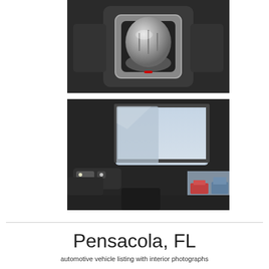[Figure (photo): Close-up photo of a car gear shift knob with chrome/silver finish in a dark interior console]
[Figure (photo): Interior car photo showing a panoramic sunroof/moonroof from inside the vehicle, with parking lot visible outside]
Pensacola, FL
automotive listing page with interior car photos